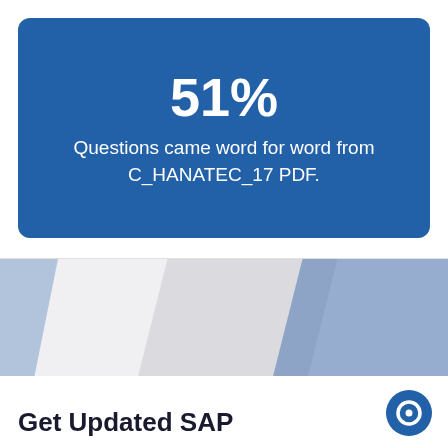[Figure (infographic): Blue rounded card with large bold '51%' statistic and descriptive text below on blue background]
51%
Questions came word for word from C_HANATEC_17 PDF.
[Figure (illustration): Decorative diagonal stripe graphic with blue and gray parallelogram shapes in the lower section of the page]
Get Updated SAP